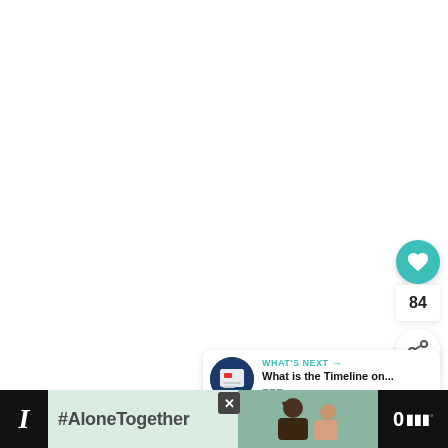[Figure (screenshot): White blank area — main content region of a web page, mostly empty white space]
[Figure (infographic): Heart/like button (teal circle with white heart icon), like count '84', and share button (white circle with share icon) — social media interaction controls on the right side]
84
[Figure (infographic): WHAT'S NEXT panel with thumbnail image and text 'What is the Timeline on...' and wnet logo]
WHAT'S NEXT
What is the Timeline on...
[Figure (infographic): Bottom advertisement banner with #AloneTogether text on green background and photo of man and child, with wnet logo and close button]